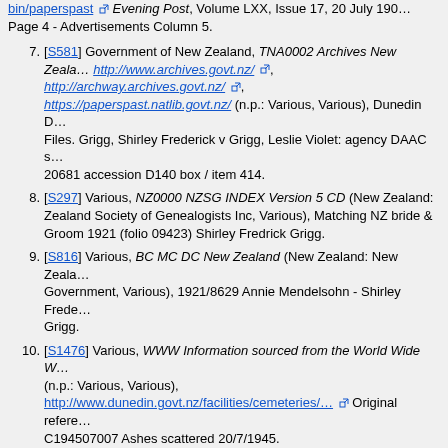bin/paperspast Evening Post, Volume LXX, Issue 17, 20 July 190... Page 4 - Advertisements Column 5.
7. [S581] Government of New Zealand, TNA0002 Archives New Zealand, http://www.archives.govt.nz/, http://archway.archives.govt.nz/, https://paperspast.natlib.govt.nz/ (n.p.: Various, Various), Dunedin D... Files. Grigg, Shirley Frederick v Grigg, Leslie Violet: agency DAAC s... 20681 accession D140 box / item 414.
8. [S297] Various, NZ0000 NZSG INDEX Version 5 CD (New Zealand: New Zealand Society of Genealogists Inc, Various), Matching NZ bride & Groom 1921 (folio 09423) Shirley Fredrick Grigg.
9. [S816] Various, BC MC DC New Zealand (New Zealand: New Zealand Government, Various), 1921/8629 Annie Mendelsohn - Shirley Frede... Grigg.
10. [S1476] Various, WWW Information sourced from the World Wide W... (n.p.: Various, Various), http://www.dunedin.govt.nz/facilities/cemeteries/... Original refere... C194507007 Ashes scattered 20/7/1945.
11. [S297] Various, NZ0000 NZSG INDEX Version 5 CD (New Zealand: New Zealand Society of Genealogists Inc, Various), Reg no. 1325.
12. [S1476] Various, WWW Information sourced from the World Wide W... (n.p.: Various, Various), http://www.dunedin.govt.nz/facilities/cemeteries/...
13. [S581] Government of New Zealand, TNA0002 Archives New Zealand, http://www.archives.govt.nz/, http://archway.archives.govt.nz/, https://paperspast.natlib.govt.nz/ (n.p.: Various, Various), Dunedin p... and letters of Administration files // Dunedin High Court agency D... se... GRIGG S... Fre...
14. [S...]
[Figure (other): Advertisement banner for fold3 by Ancestry: 'Discover your family's military past - Learn More']